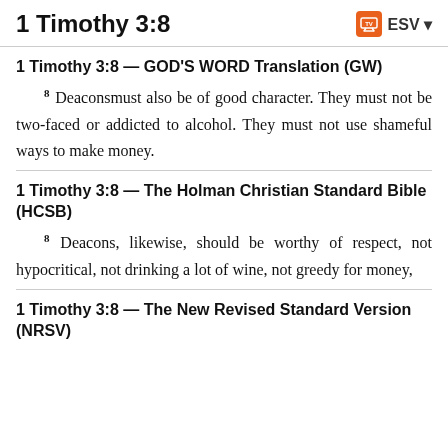1 Timothy 3:8
1 Timothy 3:8 — GOD'S WORD Translation (GW)
8 Deaconsmust also be of good character. They must not be two-faced or addicted to alcohol. They must not use shameful ways to make money.
1 Timothy 3:8 — The Holman Christian Standard Bible (HCSB)
8 Deacons, likewise, should be worthy of respect, not hypocritical, not drinking a lot of wine, not greedy for money,
1 Timothy 3:8 — The New Revised Standard Version (NRSV)